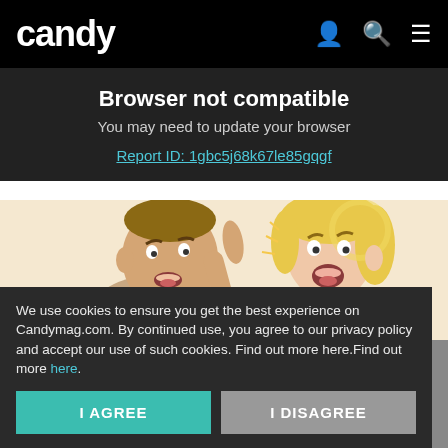candy
Browser not compatible
You may need to update your browser
Report ID: 1gbc5j68k67le85gqgf
[Figure (illustration): Cartoon illustration of two people arguing — a man pointing his finger at a woman who looks shocked and defensive, arms crossed]
Read on App
Signs of Schizophrenia: Take a Look at Them (They May Surprise You)
We use cookies to ensure you get the best experience on Candymag.com. By continued use, you agree to our privacy policy and accept our use of such cookies. Find out more here.Find out more here.
I AGREE
I DISAGREE